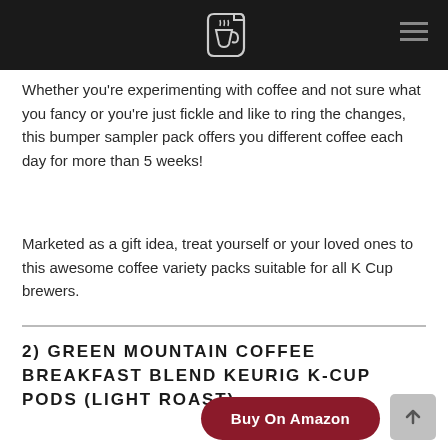[logo icon] [hamburger menu]
Whether you're experimenting with coffee and not sure what you fancy or you're just fickle and like to ring the changes, this bumper sampler pack offers you different coffee each day for more than 5 weeks!
Marketed as a gift idea, treat yourself or your loved ones to this awesome coffee variety packs suitable for all K Cup brewers.
2) GREEN MOUNTAIN COFFEE BREAKFAST BLEND KEURIG K-CUP PODS (LIGHT ROAST)